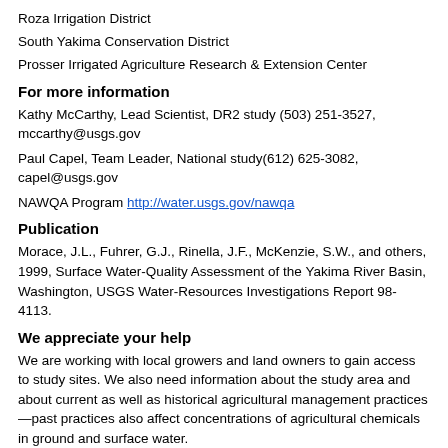Roza Irrigation District
South Yakima Conservation District
Prosser Irrigated Agriculture Research & Extension Center
For more information
Kathy McCarthy, Lead Scientist, DR2 study (503) 251-3527, mccarthy@usgs.gov
Paul Capel, Team Leader, National study(612) 625-3082, capel@usgs.gov
NAWQA Program http://water.usgs.gov/nawqa
Publication
Morace, J.L., Fuhrer, G.J., Rinella, J.F., McKenzie, S.W., and others, 1999, Surface Water-Quality Assessment of the Yakima River Basin, Washington, USGS Water-Resources Investigations Report 98-4113.
We appreciate your help
We are working with local growers and land owners to gain access to study sites. We also need information about the study area and about current as well as historical agricultural management practices—past practices also affect concentrations of agricultural chemicals in ground and surface water.
We will report the findings of the study in public meetings and in publications. These findings will provide information that will be useful for